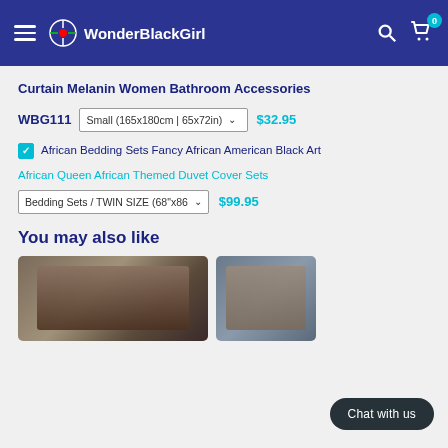WonderBlackGirl
Curtain Melanin Women Bathroom Accessories
WBG111  Small (165x180cm | 65x72in)  $32.95
African Bedding Sets Fancy African American Black Art
African Queen African Themed Duvet Cover Sets
Bedding Sets / TWIN SIZE (68"x86  $99.95
You may also like
[Figure (screenshot): Product image thumbnail - bedding/curtain product]
[Figure (screenshot): Product image thumbnail - partially visible]
Chat with us